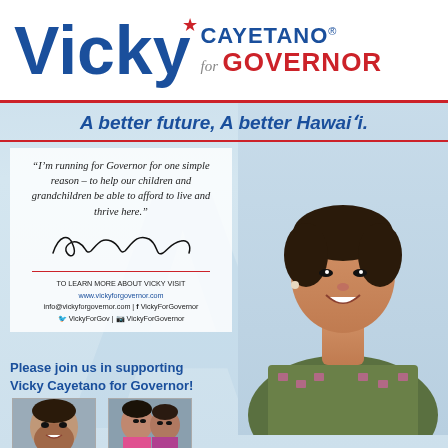Vicky Cayetano for Governor
A better future, A better Hawai'i.
"I'm running for Governor for one simple reason – to help our children and grandchildren be able to afford to live and thrive here."
[Figure (illustration): Signature of Vicky Cayetano in cursive script]
TO LEARN MORE ABOUT VICKY VISIT
www.vickyforgovernor.com
info@vickyforgovernor.com | VickyForGovernor
@VickyForGov | VickyForGovernor
[Figure (photo): Portrait photo of Vicky Cayetano smiling, wearing a green and pink patterned jacket]
Please join us in supporting Vicky Cayetano for Governor!
[Figure (photo): Photo of Ann Kobayashi]
ANN KOBAYASHI
[Figure (photo): Photo of Masa Hirayama and another person]
MASA HIRAYAMA &